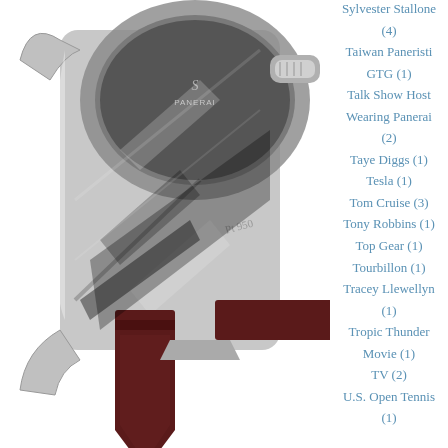[Figure (photo): Close-up photograph of a Panerai luxury watch showing the case, crown, lugs, and part of the dial with 'Pt 950' engraving visible, with a dark leather strap]
Sylvester Stallone (4)
Taiwan Paneristi GTG (1)
Talk Show Host Wearing Panerai (2)
Taye Diggs (1)
Tesla (1)
Tom Cruise (3)
Tony Robbins (1)
Top Gear (1)
Tourbillon (1)
Tracey Llewellyn (1)
Tropic Thunder Movie (1)
TV (2)
U.S. Open Tennis (1)